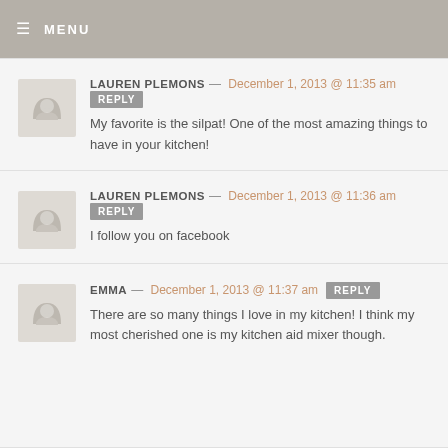MENU
LAUREN PLEMONS — December 1, 2013 @ 11:35 am REPLY
My favorite is the silpat! One of the most amazing things to have in your kitchen!
LAUREN PLEMONS — December 1, 2013 @ 11:36 am REPLY
I follow you on facebook
EMMA — December 1, 2013 @ 11:37 am REPLY
There are so many things I love in my kitchen! I think my most cherished one is my kitchen aid mixer though.